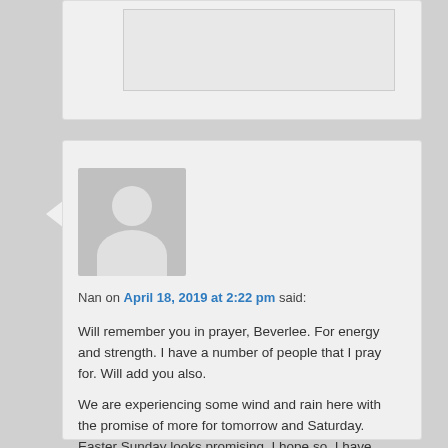[Figure (other): Partial comment block at the top of the page, clipped, showing a comment avatar area]
Nan on April 18, 2019 at 2:22 pm said:
Will remember you in prayer, Beverlee. For energy and strength. I have a number of people that I pray for. Will add you also.

We are experiencing some wind and rain here with the promise of more for tomorrow and Saturday. Easter Sunday looks promising, I hope so, I have family coming for supper. God is so good, I'm looking forward to the family get together.
God bless each and everyone reading this blog.